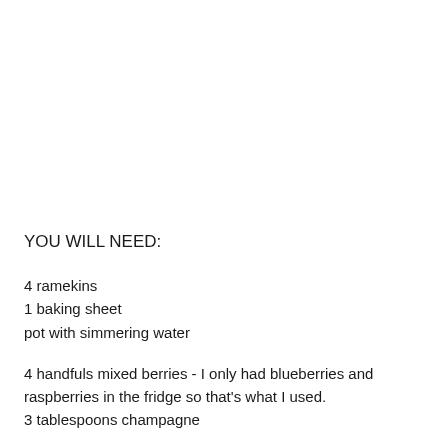YOU WILL NEED:
4 ramekins
1 baking sheet
pot with simmering water
4 handfuls mixed berries - I only had blueberries and raspberries in the fridge so that's what I used.
3 tablespoons champagne